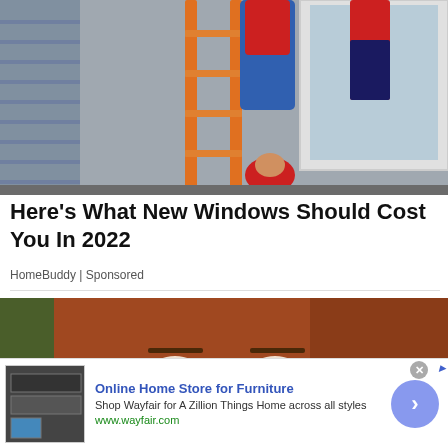[Figure (photo): Workers installing a window on the exterior of a house, with an orange ladder visible in the foreground and people in red shirts working on the window frame.]
Here's What New Windows Should Cost You In 2022
HomeBuddy | Sponsored
[Figure (photo): Close-up portrait of a young woman with long auburn/red hair, looking upward with brown eyes, against a blurred outdoor background.]
[Figure (photo): Advertisement banner: Online Home Store for Furniture - Shop Wayfair for A Zillion Things Home across all styles. www.wayfair.com]
Online Home Store for Furniture
Shop Wayfair for A Zillion Things Home across all styles
www.wayfair.com